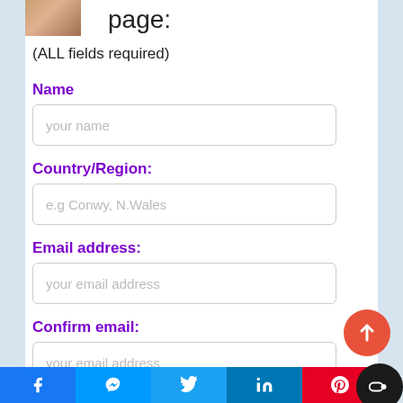[Figure (photo): Small thumbnail photo of a person in the top-left corner of the white card]
page:
(ALL fields required)
Name
your name
Country/Region:
e.g Conwy, N.Wales
Email address:
your email address
Confirm email:
your email address
[Figure (infographic): Social sharing bar at the bottom with Facebook, Messenger, Twitter, LinkedIn, Pinterest icons]